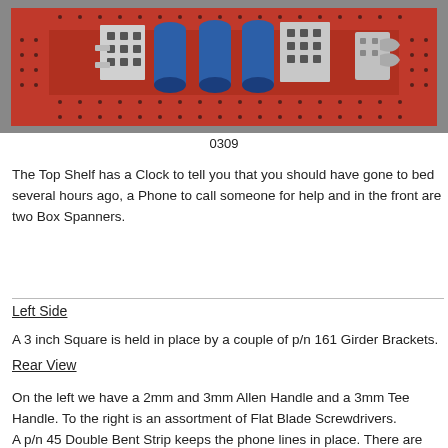[Figure (photo): Photo of a red metal Meccano-style shelf/tray with blue cylindrical objects, white metal bracket pieces with holes, and a small wrench/spanner component arranged on top of perforated red metal strips, placed on a grey carpet.]
0309
The Top Shelf has a Clock to tell you that you should have gone to bed several hours ago, a Phone to call someone for help and in the front are two Box Spanners.
Left Side
A 3 inch Square is held in place by a couple of p/n 161 Girder Brackets.
Rear View
On the left we have a 2mm and 3mm Allen Handle and a 3mm Tee Handle. To the right is an assortment of Flat Blade Screwdrivers. A p/n 45 Double Bent Strip keeps the phone lines in place. There are